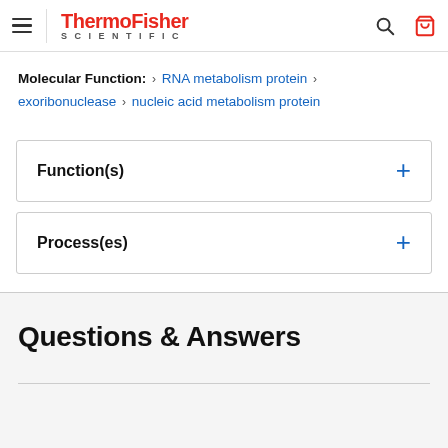ThermoFisher SCIENTIFIC
Molecular Function: > RNA metabolism protein > exoribonuclease > nucleic acid metabolism protein
Function(s) +
Process(es) +
Questions & Answers